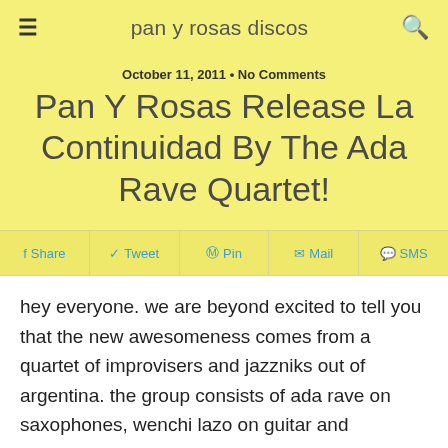pan y rosas discos
October 11, 2011 • No Comments
Pan Y Rosas Release La Continuidad By The Ada Rave Quartet!
Share Tweet Pin Mail SMS
hey everyone. we are beyond excited to tell you that the new awesomeness comes from a quartet of improvisers and jazzniks out of argentina. the group consists of ada rave on saxophones, wenchi lazo on guitar and